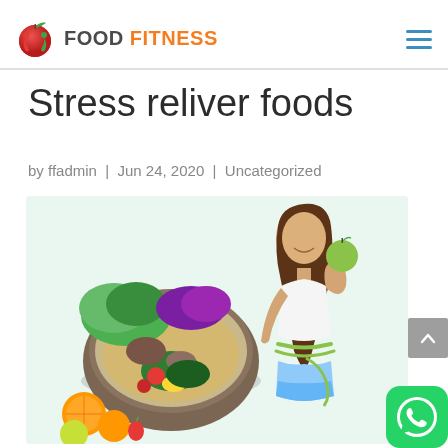FOOD FITNESS
Stress reliver foods
by ffadmin | Jun 24, 2020 | Uncategorized
[Figure (photo): Woman holding a green apple and wearing a measuring tape around her waist, next to a large bowl of colorful salad with vegetables, nuts, and fruits on a light green background.]